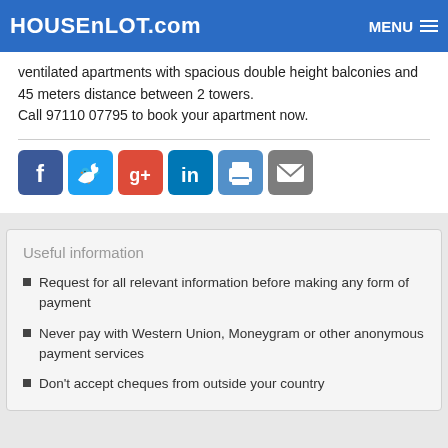HOUSEnLOT.com  MENU
ventilated apartments with spacious double height balconies and 45 meters distance between 2 towers.
Call 97110 07795 to book your apartment now.
[Figure (infographic): Row of social share icons: Facebook, Twitter, Google+, LinkedIn, Print, Email]
Useful information
Request for all relevant information before making any form of payment
Never pay with Western Union, Moneygram or other anonymous payment services
Don't accept cheques from outside your country